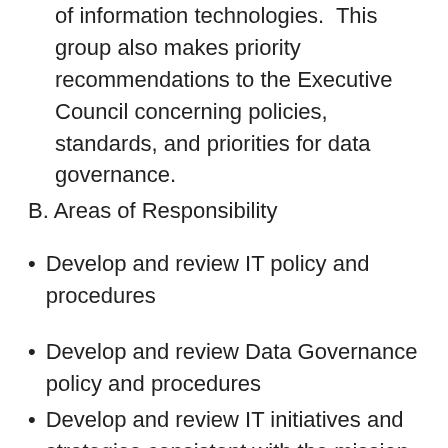of information technologies.  This group also makes priority recommendations to the Executive Council concerning policies, standards, and priorities for data governance.
B. Areas of Responsibility
Develop and review IT policy and procedures
Develop and review Data Governance policy and procedures
Develop and review IT initiatives and strategies consistent with the mission of the University